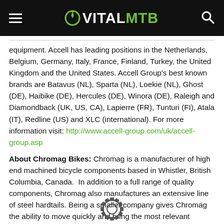VITALMTB
equipment. Accell has leading positions in the Netherlands, Belgium, Germany, Italy, France, Finland, Turkey, the United Kingdom and the United States. Accell Group's best known brands are Batavus (NL), Sparta (NL), Loekie (NL), Ghost (DE), Haibike (DE), Hercules (DE), Winora (DE), Raleigh and Diamondback (UK, US, CA), Lapierre (FR), Tunturi (FI), Atala (IT), Redline (US) and XLC (international). For more information visit: http://www.accell-group.com/uk/accell-group.asp
About Chromag Bikes: Chromag is a manufacturer of high end machined bicycle components based in Whistler, British Columbia, Canada. In addition to a full range of quality components, Chromag also manufactures an extensive line of steel hardtails. Being a smaller company gives Chromag the ability to move quickly and bring the most relevant components to market with a heightened sense of detail and creativity. For more information visit: http://www.chromagbikes.com
[Figure (logo): Gear/sprocket logo at the bottom center of the page]